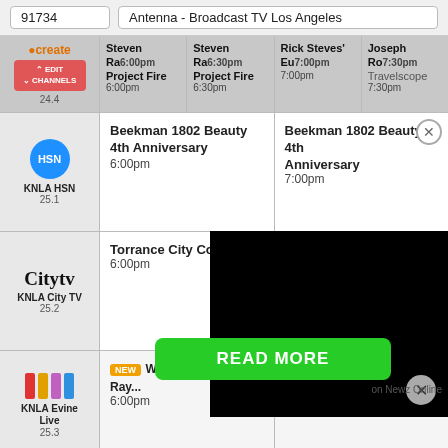91734
Antenna - Broadcast TV Los Angeles
| Channel | 6:00pm | 6:30pm | 7:00pm | 7:30pm |
| --- | --- | --- | --- | --- |
| create 24.4 (EDIT CHANNELS) | Steven Ra... Project Fire 6:00pm | Steven Ra... Project Fire 6:30pm | Rick Steves' Eu... 7:00pm | Joseph Ro... Travelscope 7:30pm |
| KNLA HSN 25.1 | Beekman 1802 Beauty 4th Anniversary 6:00pm |  | Beekman 1802 Beauty 4th Anniversary 7:00pm |  |
| KNLA City TV 25.2 | Torrance City Coun... 6:00pm |  |  |  |
| KNLA Evine Live 25.3 | NEW Watch Collector Ft. Ray... 6:00pm |  | NEW Invicta Watches 7:00pm |  |
[Figure (screenshot): Black video player overlay in bottom-right area of the TV guide]
READ MORE
on Newz Online